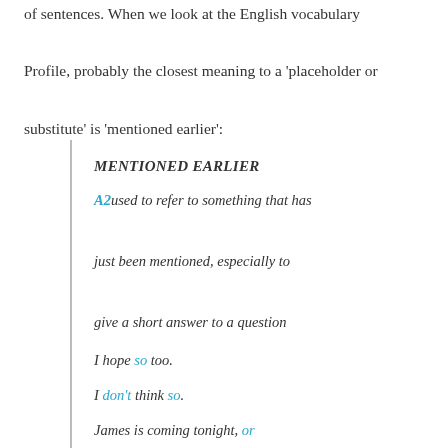of sentences. When we look at the English vocabulary Profile, probably the closest meaning to a 'placeholder or substitute' is 'mentioned earlier':
MENTIONED EARLIER
A2 used to refer to something that has just been mentioned, especially to give a short answer to a question
I hope so too.
I don't think so.
James is coming tonight, or